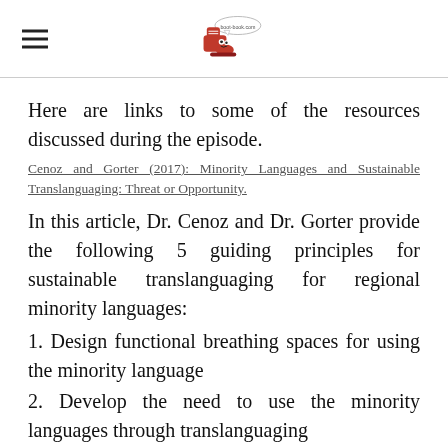[Logo: boot-book.com mascot with hamburger menu]
Here are links to some of the resources discussed during the episode.
Cenoz and Gorter (2017): Minority Languages and Sustainable Translanguaging: Threat or Opportunity.
In this article, Dr. Cenoz and Dr. Gorter provide the following 5 guiding principles for sustainable translanguaging for regional minority languages:
1. Design functional breathing spaces for using the minority language
2. Develop the need to use the minority languages through translanguaging